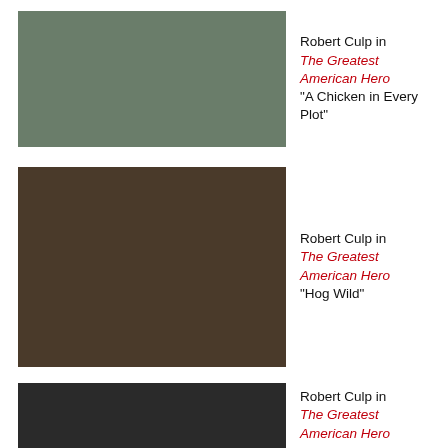[Figure (photo): Photo of Robert Culp with other actors in military/outdoor setting from The Greatest American Hero]
Robert Culp in The Greatest American Hero "A Chicken in Every Plot"
[Figure (photo): Photo of Robert Culp in barn/farm setting from The Greatest American Hero]
Robert Culp in The Greatest American Hero "Hog Wild"
[Figure (photo): Photo of Robert Culp in indoor setting from The Greatest American Hero]
Robert Culp in The Greatest American Hero